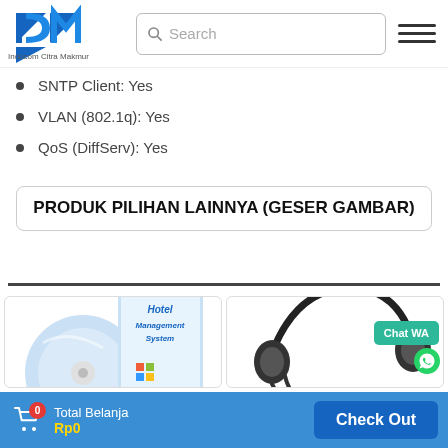[Figure (logo): ICM Indocom Citra Makmur logo with blue geometric mark and text]
[Figure (screenshot): Search bar with magnifier icon and hamburger menu icon]
SNTP Client: Yes
VLAN (802.1q): Yes
QoS (DiffServ): Yes
PRODUK PILIHAN LAINNYA (GESER GAMBAR)
[Figure (photo): Hotel Management System software box with CD]
[Figure (photo): Call center headset with coiled cable]
[Figure (screenshot): Chat WA button in green and WhatsApp icon]
0  Total Belanja  Rp0  Check Out